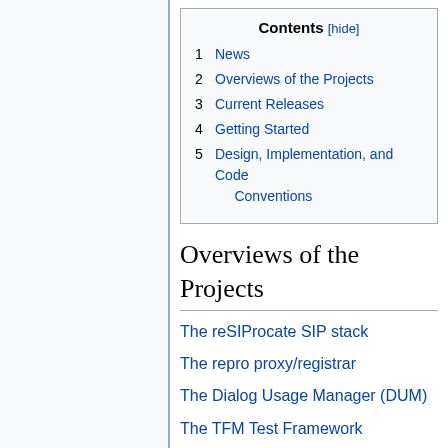| Contents [hide] |
| --- |
| 1 News |
| 2 Overviews of the Projects |
| 3 Current Releases |
| 4 Getting Started |
| 5 Design, Implementation, and Code Conventions |
Overviews of the Projects
The reSIProcate SIP stack
The repro proxy/registrar
The Dialog Usage Manager (DUM)
The TFM Test Framework
Current Releases
All users of resiprocate are encouraged to use the most recent release. In